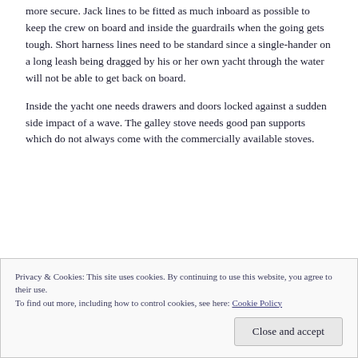more secure. Jack lines to be fitted as much inboard as possible to keep the crew on board and inside the guardrails when the going gets tough. Short harness lines need to be standard since a single-hander on a long leash being dragged by his or her own yacht through the water will not be able to get back on board.
Inside the yacht one needs drawers and doors locked against a sudden side impact of a wave. The galley stove needs good pan supports which do not always come with the commercially available stoves.
Privacy & Cookies: This site uses cookies. By continuing to use this website, you agree to their use.
To find out more, including how to control cookies, see here: Cookie Policy
Close and accept